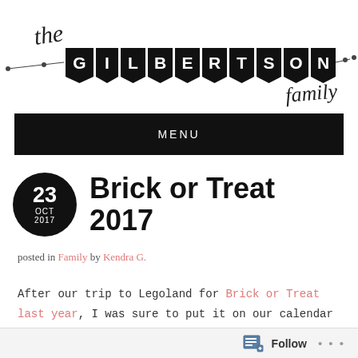[Figure (logo): The Gilbertson Family blog logo — handwritten 'the' and 'family' text with banner flags spelling 'GILBERTSON' in white on black pennant shapes, connected by a string with small circles]
MENU
Brick or Treat 2017
posted in Family by Kendra G.
After our trip to Legoland for Brick or Treat last year, I was sure to put it on our calendar for this year. It's such a